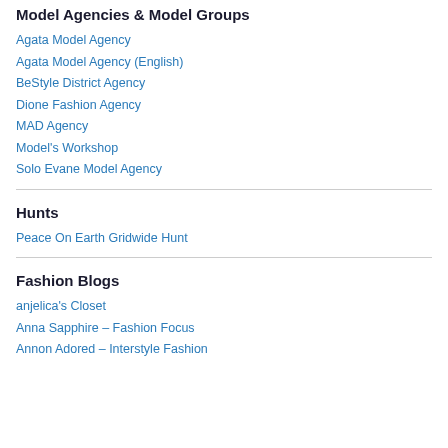Model Agencies & Model Groups
Agata Model Agency
Agata Model Agency (English)
BeStyle District Agency
Dione Fashion Agency
MAD Agency
Model's Workshop
Solo Evane Model Agency
Hunts
Peace On Earth Gridwide Hunt
Fashion Blogs
anjelica's Closet
Anna Sapphire – Fashion Focus
Annon Adored – Interstyle Fashion